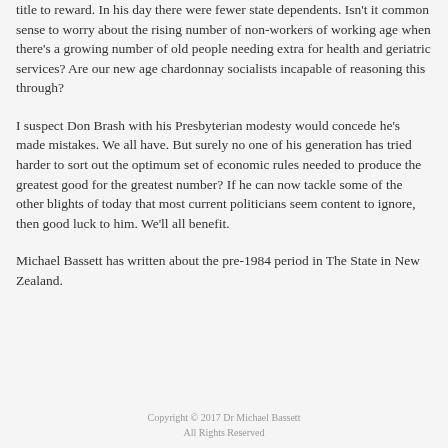title to reward. In his day there were fewer state dependents. Isn't it common sense to worry about the rising number of non-workers of working age when there's a growing number of old people needing extra for health and geriatric services? Are our new age chardonnay socialists incapable of reasoning this through?
I suspect Don Brash with his Presbyterian modesty would concede he's made mistakes. We all have. But surely no one of his generation has tried harder to sort out the optimum set of economic rules needed to produce the greatest good for the greatest number? If he can now tackle some of the other blights of today that most current politicians seem content to ignore, then good luck to him. We'll all benefit.
Michael Bassett has written about the pre-1984 period in The State in New Zealand.
Copyright © 2017 Dr Michael Bassett
All Rights Reserved